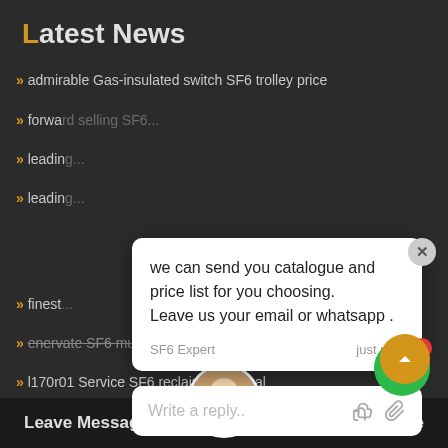Latest News
>> admirable Gas-insulated switch SF6 trolley price
>> forwa...
>> leadin...
>> leadin...
[Figure (screenshot): Chat popup with message: 'we can send you catalogue and price list for you choosing. Leave us your email or whatsapp.' from SF6 Expert, just now. Reply box with 'Write a reply..' placeholder.]
>> finest...
>> enervate SF6 multi analyzer trolley price
>> l170r01 Service SF6 reclaimer manual
>> attractive SF6 GIS system
>> Service SF6 rental for sale
Leave Message
Chat Online